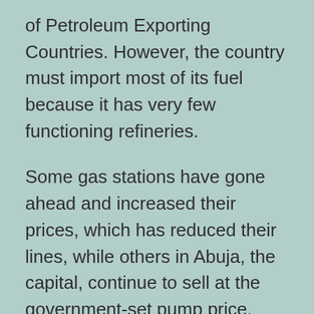of Petroleum Exporting Countries. However, the country must import most of its fuel because it has very few functioning refineries.
Some gas stations have gone ahead and increased their prices, which has reduced their lines, while others in Abuja, the capital, continue to sell at the government-set pump price.
The way out of the gas shortage is to allow gas stations to charge more, said Uwadiae Osadiaye, senior vice president, energy and industrials at FBNQuest Merchant Bank.